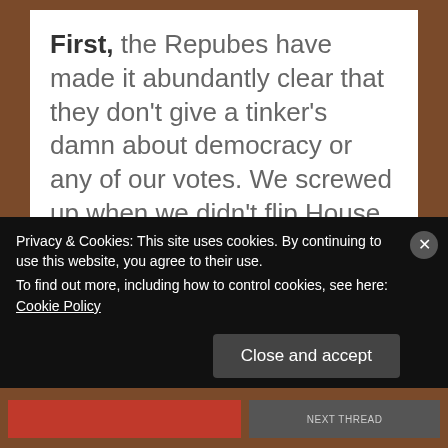First, the Repubes have made it abundantly clear that they don't give a tinker's damn about democracy or any of our votes. We screwed up when we didn't flip House seats and take the Senate.
And second, the courts have made it very clear that they do not like getting
Privacy & Cookies: This site uses cookies. By continuing to use this website, you agree to their use. To find out more, including how to control cookies, see here: Cookie Policy
Close and accept